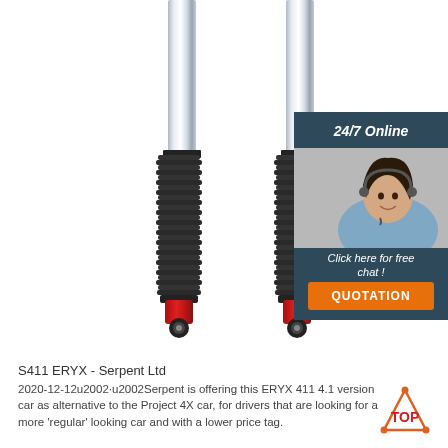[Figure (photo): Two shock absorber struts with chrome upper shafts, black ribbed rubber boots, and red aluminum lower mounts. A customer service chat widget is overlaid on the right side showing a woman with a headset, '24/7 Online' header text, 'Click here for free chat!' text, and an orange 'QUOTATION' button.]
S411 ERYX - Serpent Ltd
2020-12-12u2002·u2002Serpent is offering this ERYX 411 4.1 version car as alternative to the Project 4X car, for drivers that are looking for a more 'regular' looking car and with a lower price tag.
[Figure (logo): TOP logo — orange triangle with dots and 'TOP' text in orange/red bold letters]